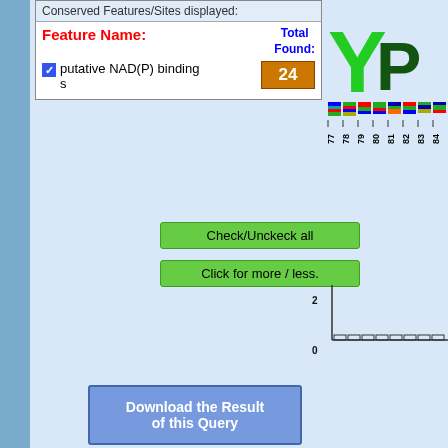Conserved Features/Sites displayed:
| Feature Name: | Total Found: |
| --- | --- |
| putative NAD(P) binding s | 24 |
Check/Unckeck all
Click for more / less.
Download the Result of this Query
[Figure (other): Sequence logo showing conserved residues Y and P at positions 77-84, with colored letter stacks]
[Figure (bar-chart): Conservation bar chart positions 77-84]
[Figure (other): Sequence logo showing conserved residue F at positions 115-122]
[Figure (bar-chart): Conservation bar chart positions 115-122]
[Figure (other): Green triangle visible at bottom, partial view of another sequence logo region]